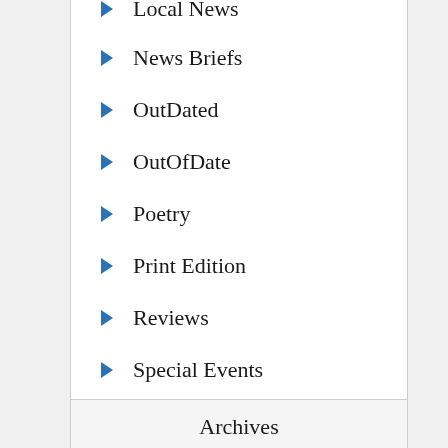Local News
News Briefs
OutDated
OutOfDate
Poetry
Print Edition
Reviews
Special Events
Village Life
Archives